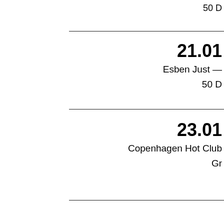50 D
21.01
Esben Just —
50 D
23.01
Copenhagen Hot Club
Gr